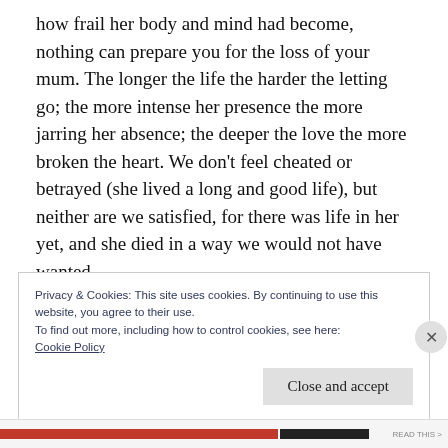how frail her body and mind had become, nothing can prepare you for the loss of your mum. The longer the life the harder the letting go; the more intense her presence the more jarring her absence; the deeper the love the more broken the heart. We don't feel cheated or betrayed (she lived a long and good life), but neither are we satisfied, for there was life in her yet, and she died in a way we would not have wanted.
Privacy & Cookies: This site uses cookies. By continuing to use this website, you agree to their use.
To find out more, including how to control cookies, see here:
Cookie Policy
Close and accept